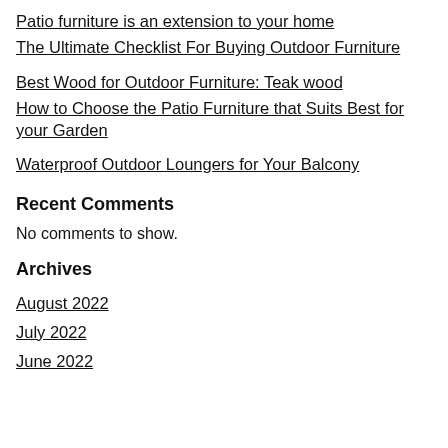Patio furniture is an extension to your home
The Ultimate Checklist For Buying Outdoor Furniture
Best Wood for Outdoor Furniture: Teak wood
How to Choose the Patio Furniture that Suits Best for your Garden
Waterproof Outdoor Loungers for Your Balcony
Recent Comments
No comments to show.
Archives
August 2022
July 2022
June 2022